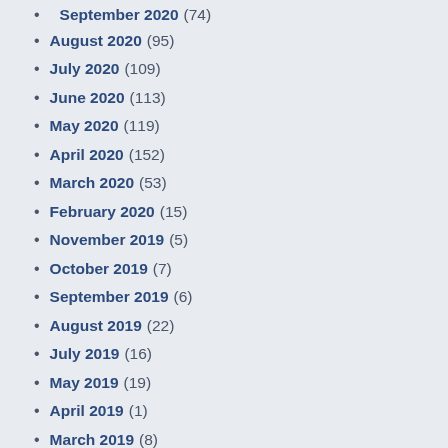September 2020 (74)
August 2020 (95)
July 2020 (109)
June 2020 (113)
May 2020 (119)
April 2020 (152)
March 2020 (53)
February 2020 (15)
November 2019 (5)
October 2019 (7)
September 2019 (6)
August 2019 (22)
July 2019 (16)
May 2019 (19)
April 2019 (1)
March 2019 (8)
February 2019 (21)
January 2019 (4)
December 2018 (8)
November 2018 (11)
October 2018 (2)
September 2018 (5)
August 2018 (18)